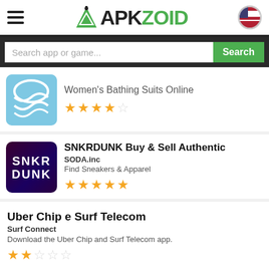APKZOID
Search app or game...
Women's Bathing Suits Online — 4/5 stars
SNKRDUNK Buy & Sell Authentic — SODA.inc — Find Sneakers & Apparel — 5/5 stars
Uber Chip e Surf Telecom — Surf Connect — Download the Uber Chip and Surf Telecom app. — 2/5 stars